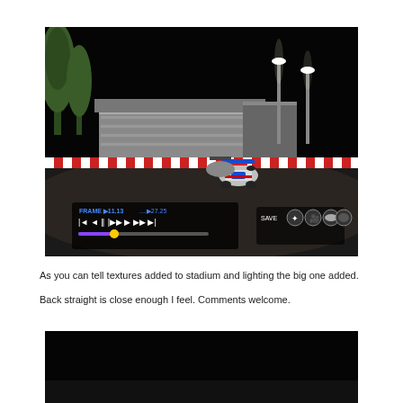[Figure (screenshot): Racing game screenshot at night showing a sprint car on a dirt track with grandstands, trees, and stadium lights in the background. A replay control bar is visible at the bottom showing FRAME 11.13, 27.25, with playback controls and a SAVE button.]
As you can tell textures added to stadium and lighting the big one added.
Back straight is close enough I feel. Comments welcome.
[Figure (screenshot): Partial racing game screenshot showing a dark scene, likely the beginning of another replay view.]